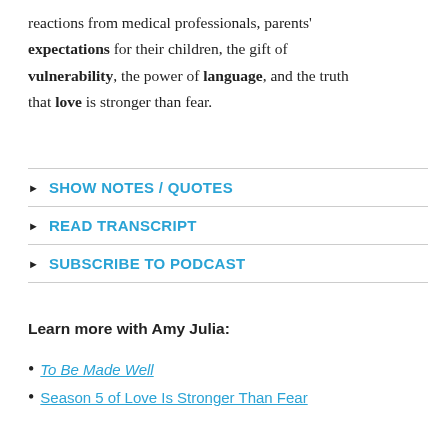reactions from medical professionals, parents' expectations for their children, the gift of vulnerability, the power of language, and the truth that love is stronger than fear.
SHOW NOTES / QUOTES
READ TRANSCRIPT
SUBSCRIBE TO PODCAST
Learn more with Amy Julia:
To Be Made Well
Season 5 of Love Is Stronger Than Fear